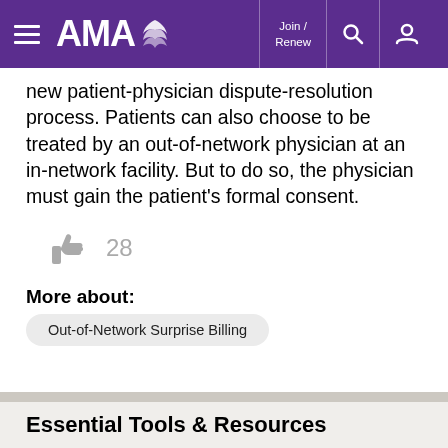AMA — Join / Renew
new patient-physician dispute-resolution process. Patients can also choose to be treated by an out-of-network physician at an in-network facility. But to do so, the physician must gain the patient's formal consent.
[Figure (other): Thumbs-up icon with like count of 28]
More about:
Out-of-Network Surprise Billing
Essential Tools & Resources